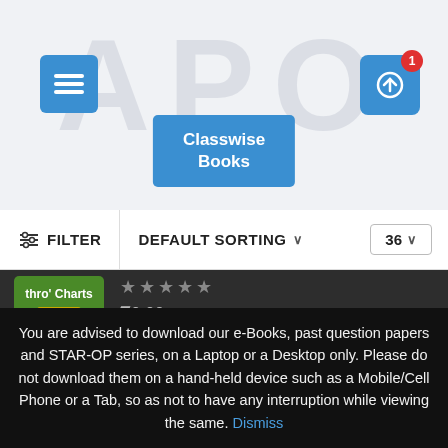[Figure (screenshot): Navigation bar with hamburger menu icon (blue square button, top-left), 'Classwise Books' blue button in center, and cart icon with red badge showing '1' (top-right). Background has faint watermark letters 'APO'.]
Classwise Books
FILTER   DEFAULT SORTING ∨   36 ∨
[Figure (photo): Green book cover thumbnail labeled 'thro' Charts' with BrainTalent branding]
★★★★★ ₹0.00
[Figure (photo): Olympiad Mock Test 20-20 Series book cover in red/blue/white]
BMA's Olympiad Mock Test 20-20 Series - Science -…
★★★★☆ ₹125.00
[Figure (photo): Talent & Olympiad Exams Resource Book blue cover]
BMA's Talent & Olympiad Exams Resource Book for…
You are advised to download our e-Books, past question papers and STAR-OP series, on a Laptop or a Desktop only. Please do not download them on a hand-held device such as a Mobile/Cell Phone or a Tab, so as not to have any interruption while viewing the same. Dismiss